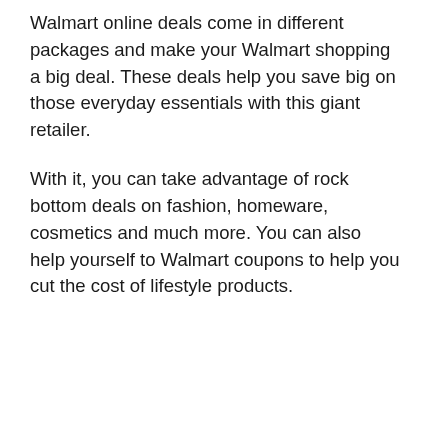Walmart online deals come in different packages and make your Walmart shopping a big deal. These deals help you save big on those everyday essentials with this giant retailer.
With it, you can take advantage of rock bottom deals on fashion, homeware, cosmetics and much more. You can also help yourself to Walmart coupons to help you cut the cost of lifestyle products.